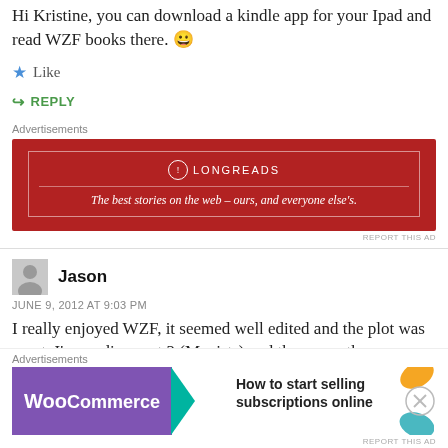Hi Kristine, you can download a kindle app for your Ipad and read WZF books there. 😀
★ Like
↪ REPLY
Advertisements
[Figure (other): Longreads advertisement banner: red background, white border, Longreads logo and tagline 'The best stories on the web – ours, and everyone else's.']
REPORT THIS AD
Jason
JUNE 9, 2012 AT 9:03 PM
I really enjoyed WZF, it seemed well edited and the plot was great. I'm reading part 2 (Maxists) and the errors tha
Advertisements
[Figure (other): WooCommerce advertisement: purple background with WooCommerce logo and teal arrow, text 'How to start selling subscriptions online', decorative leaves]